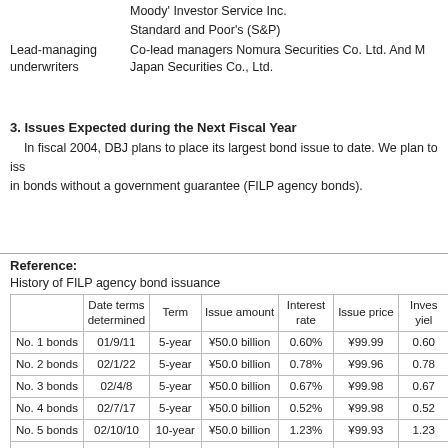Moody' Investor Service Inc.
Standard and Poor's (S&P)
Lead-managing underwriters	Co-lead managers Nomura Securities Co. Ltd. And M
Japan Securities Co., Ltd.
3. Issues Expected during the Next Fiscal Year
In fiscal 2004, DBJ plans to place its largest bond issue to date. We plan to iss in bonds without a government guarantee (FILP agency bonds).
|  | Date terms determined | Term | Issue amount | Interest rate | Issue price | Inves yiel |
| --- | --- | --- | --- | --- | --- | --- |
| No. 1 bonds | 01/9/11 | 5-year | ¥50.0 billion | 0.60% | ¥99.99 | 0.60 |
| No. 2 bonds | 02/1/22 | 5-year | ¥50.0 billion | 0.78% | ¥99.96 | 0.78 |
| No. 3 bonds | 02/4/8 | 5-year | ¥50.0 billion | 0.67% | ¥99.98 | 0.67 |
| No. 4 bonds | 02/7/17 | 5-year | ¥50.0 billion | 0.52% | ¥99.98 | 0.52 |
| No. 5 bonds | 02/10/10 | 10-year | ¥50.0 billion | 1.23% | ¥99.93 | 1.23 |
| No. 6 bonds | 03/1/15 | 5-year | ¥50.0 billion | 0.41% | ¥99.98 | 0.41 |